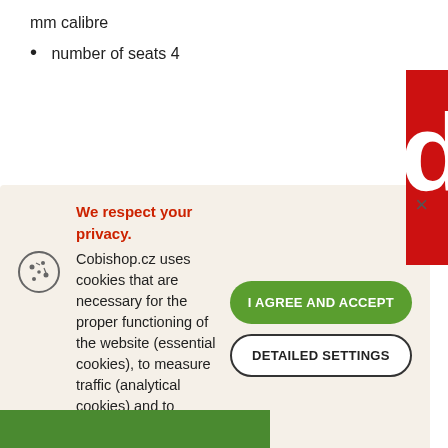mm calibre
number of seats 4
We respect your privacy. Cobishop.cz uses cookies that are necessary for the proper functioning of the website (essential cookies), to measure traffic (analytical cookies) and to personalize advertising (marketing cookies). In order to use cookies we need your kind consent. Thank you for helping us to improve our services. Click HERE for detailed information.